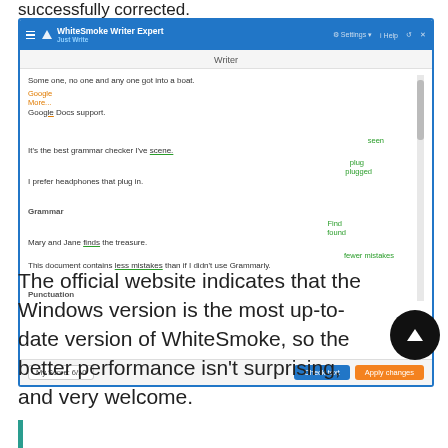successfully corrected.
[Figure (screenshot): WhiteSmoke Writer Expert application screenshot showing a text editor with grammar suggestions. The interface has a blue title bar with the app name, a Writer panel with sample sentences showing grammar corrections highlighted in orange and green (suggestions like 'Google', 'scene', 'plug', 'played', 'Find', 'found', 'fewer mistakes'), a score of 'My Score: 6/10', and buttons 'Check text' and 'Apply changes'.]
The official website indicates that the Windows version is the most up-to-date version of WhiteSmoke, so the better performance isn't surprising, and very welcome.